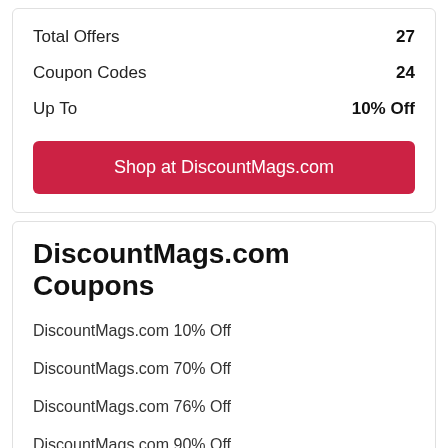Total Offers — 27
Coupon Codes — 24
Up To — 10% Off
Shop at DiscountMags.com
DiscountMags.com Coupons
DiscountMags.com 10% Off
DiscountMags.com 70% Off
DiscountMags.com 76% Off
DiscountMags.com 90% Off
DiscountMags.com 20% Off
DiscountMags.com Save $32